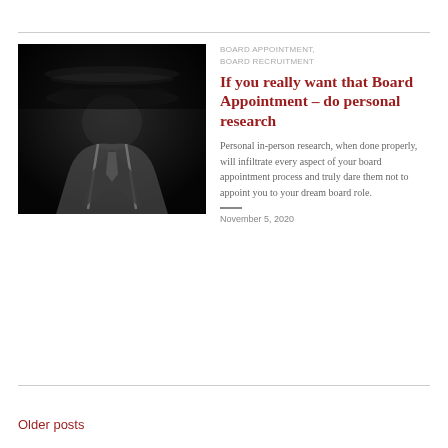[Figure (photo): Black and white photograph of a person in a hat and suspenders, face obscured in shadow]
BOARD APPOINTMENT, BOARD RECRUITMENT
If you really want that Board Appointment – do personal research
Personal in-person research, when done properly, will infiltrate every aspect of your board appointment process and truly dare them not to appoint you to your dream board role.
November 5, 2020
Older posts